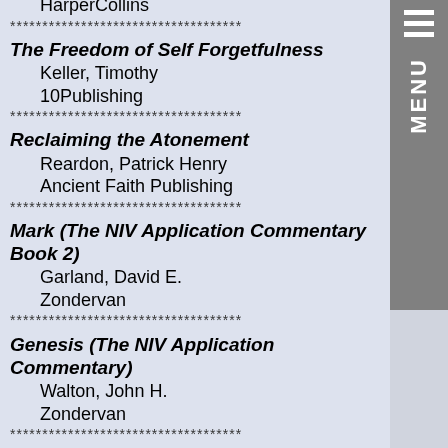HarperCollins
************************************
The Freedom of Self Forgetfulness
Keller, Timothy
10Publishing
************************************
Reclaiming the Atonement
Reardon, Patrick Henry
Ancient Faith Publishing
************************************
Mark (The NIV Application Commentary Book 2)
Garland, David E.
Zondervan
************************************
Genesis (The NIV Application Commentary)
Walton, John H.
Zondervan
************************************
The Lost World of Genesis One: Ancient Cosmology and the Origins Debate
Walton, John H.
InterVarsity Press
************************************